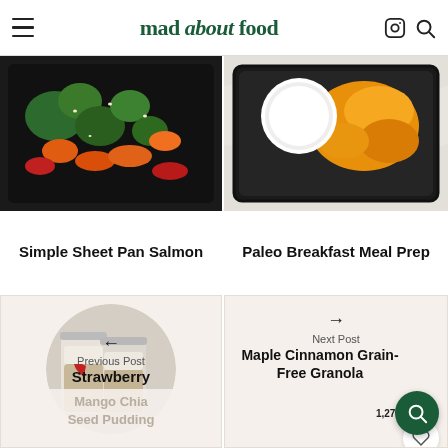mad about food
[Figure (photo): Overhead shot of sheet pan with roasted salmon, broccoli, and colorful peppers in a dark tray]
[Figure (photo): Meal prep container with roasted yellow peppers and a small container of white sauce/dip on a marble surface]
Simple Sheet Pan Salmon
Paleo Breakfast Meal Prep
[Figure (photo): Circular cropped image of two glass jars filled with layered strawberry chia pudding with red sauce drizzle]
← Previous Post Strawberry
→ Next Post Maple Cinnamon Grain-Free Granola
1,279
Mango Chia Seed Pudding